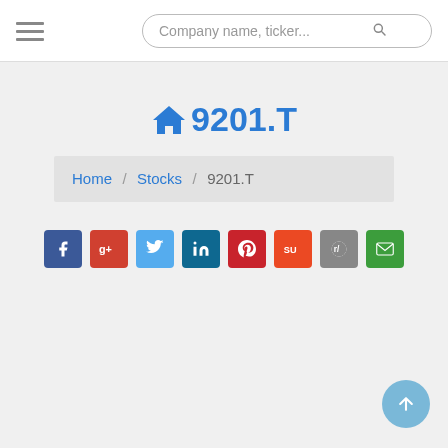Company name, ticker...
9201.T
Home / Stocks / 9201.T
[Figure (infographic): Row of 8 social sharing buttons: Facebook (dark blue), Google+ (red), Twitter (light blue), LinkedIn (dark teal), Pinterest (red), StumbleUpon (orange), Reddit (gray), Email (green)]